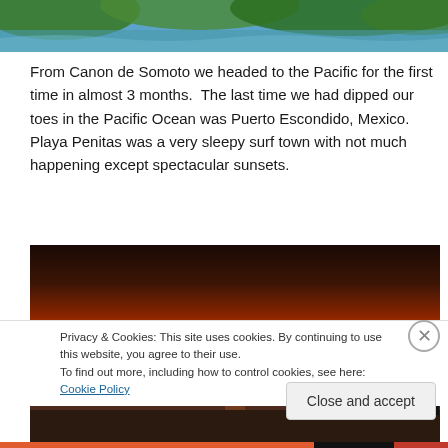[Figure (photo): Top portion of a nature/travel photo showing green foliage and blue sky]
From Canon de Somoto we headed to the Pacific for the first time in almost 3 months.  The last time we had dipped our toes in the Pacific Ocean was Puerto Escondido, Mexico.  Playa Penitas was a very sleepy surf town with not much happening except spectacular sunsets.
[Figure (photo): A sunset photograph over the Pacific Ocean showing a large orange sun near the horizon with waves on the beach and silhouettes of people in the water]
Privacy & Cookies: This site uses cookies. By continuing to use this website, you agree to their use.
To find out more, including how to control cookies, see here: Cookie Policy